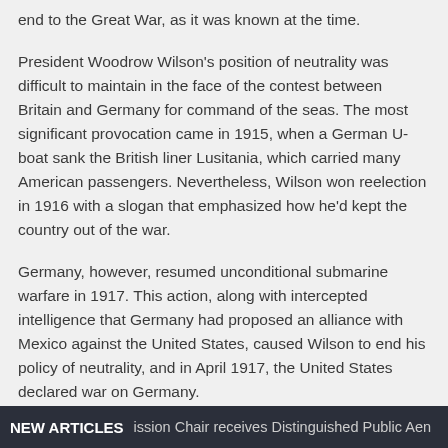end to the Great War, as it was known at the time.
President Woodrow Wilson's position of neutrality was difficult to maintain in the face of the contest between Britain and Germany for command of the seas. The most significant provocation came in 1915, when a German U-boat sank the British liner Lusitania, which carried many American passengers. Nevertheless, Wilson won reelection in 1916 with a slogan that emphasized how he'd kept the country out of the war.
Germany, however, resumed unconditional submarine warfare in 1917. This action, along with intercepted intelligence that Germany had proposed an alliance with Mexico against the United States, caused Wilson to end his policy of neutrality, and in April 1917, the United States declared war on Germany.
In 1917, nearly five million Americans, mostly men
NEW ARTICLES   ission Chair receives Distinguished Public Aen